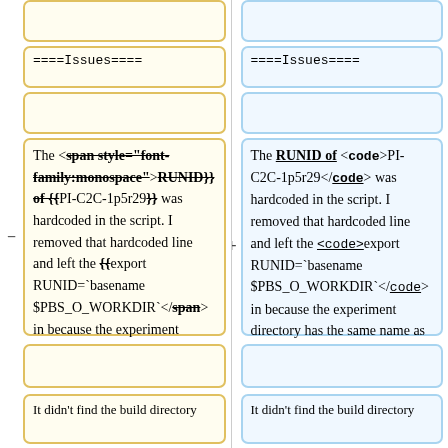(empty cell top-left)
(empty cell top-right)
====Issues====
====Issues====
(empty cell left)
(empty cell right)
The <span style="font-family:monospace">RUNID}} of {{PI-C2C-1p5r29}} was hardcoded in the script. I removed that hardcoded line and left the {{export RUNID=`basename $PBS_O_WORKDIR`</span> in because the experiment directory has the same name as the scripts.
The RUNID of <code>PI-C2C-1p5r29</code> was hardcoded in the script. I removed that hardcoded line and left the <code>export RUNID=`basename $PBS_O_WORKDIR`</code> in because the experiment directory has the same name as the scripts.
(empty cell bottom-left)
(empty cell bottom-right)
It didn't find the build directory
It didn't find the build directory